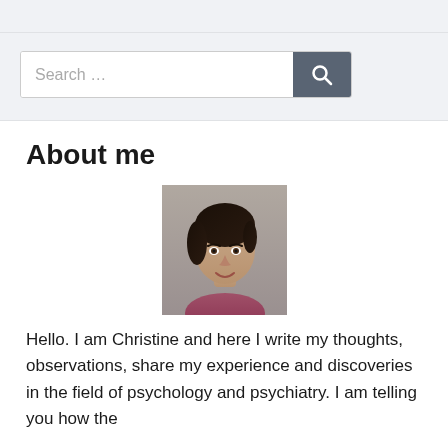[Figure (screenshot): Search bar with text placeholder 'Search …' and a dark grey search button with magnifying glass icon]
About me
[Figure (photo): Portrait photo of a young woman with short dark hair, smiling, against a grey background]
Hello. I am Christine and here I write my thoughts, observations, share my experience and discoveries in the field of psychology and psychiatry. I am telling you how the